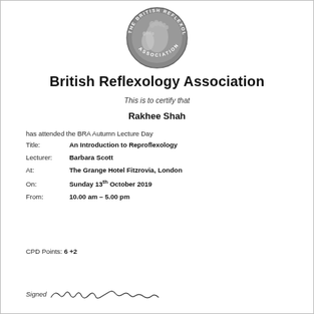[Figure (logo): The British Reflexology Association circular logo with two foot outlines and text around the border]
British Reflexology Association
This is to certify that
Rakhee Shah
has attended the BRA Autumn Lecture Day
Title: An Introduction to Reproflexology
Lecturer: Barbara Scott
At: The Grange Hotel Fitzrovia, London
On: Sunday 13th October 2019
From: 10.00 am – 5.00 pm
CPD Points: 6 +2
Signed [signature]